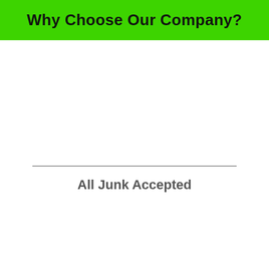Why Choose Our Company?
All Junk Accepted